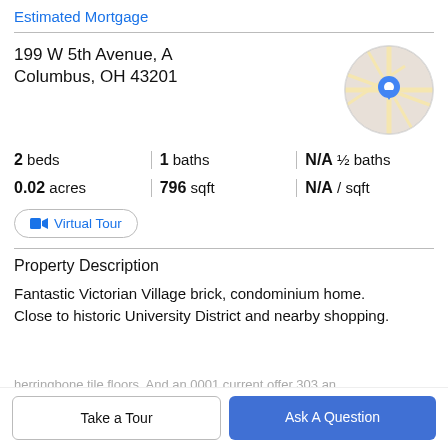Estimated Mortgage
199 W 5th Avenue, A
Columbus, OH 43201
[Figure (map): Circular map thumbnail showing street map with blue location pin]
2 beds | 1 baths | N/A ½ baths
0.02 acres | 796 sqft | N/A / sqft
Virtual Tour
Property Description
Fantastic Victorian Village brick, condominium home. Close to historic University District and nearby shopping.
Take a Tour
Ask A Question
herringbone tile floors. And an 0001 current offer 303 an